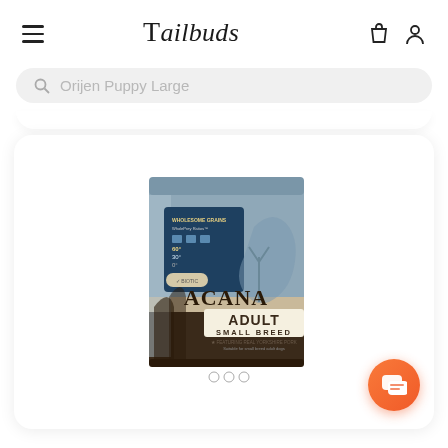Tailbuds
Orijen Puppy Large
[Figure (photo): ACANA Adult Small Breed dog food bag, blue-gray packaging with dark brown lower section showing forest imagery. The bag displays 'ACANA', 'ADULT', 'SMALL BREED' in large text. A nutrition facts panel is visible on the left side of the bag.]